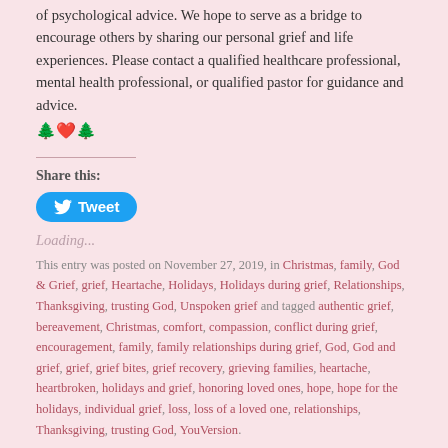of psychological advice. We hope to serve as a bridge to encourage others by sharing our personal grief and life experiences. Please contact a qualified healthcare professional, mental health professional, or qualified pastor for guidance and advice.
🌲❤️🌲
Share this:
Tweet
Loading...
This entry was posted on November 27, 2019, in Christmas, family, God & Grief, grief, Heartache, Holidays, Holidays during grief, Relationships, Thanksgiving, trusting God, Unspoken grief and tagged authentic grief, bereavement, Christmas, comfort, compassion, conflict during grief, encouragement, family, family relationships during grief, God, God and grief, grief, grief bites, grief recovery, grieving families, heartache, heartbroken, holidays and grief, honoring loved ones, hope, hope for the holidays, individual grief, loss, loss of a loved one, relationships, Thanksgiving, trusting God, YouVersion.
2 Comments